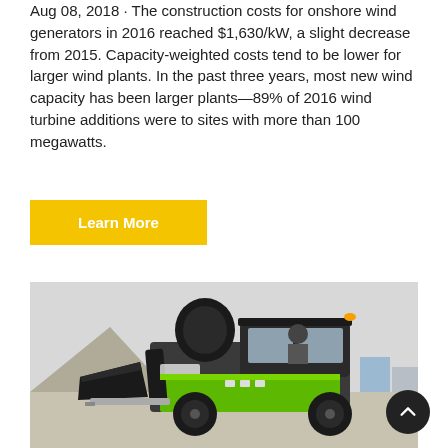Aug 08, 2018 · The construction costs for onshore wind generators in 2016 reached $1,630/kW, a slight decrease from 2015. Capacity-weighted costs tend to be lower for larger wind plants. In the past three years, most new wind capacity has been larger plants—89% of 2016 wind turbine additions were to sites with more than 100 megawatts.
Learn More
[Figure (photo): A green construction vehicle (self-loading concrete mixer/wheel loader) with a large scoop bucket raised, being operated by a person in a cab, parked on a gravel/concrete site with industrial background.]